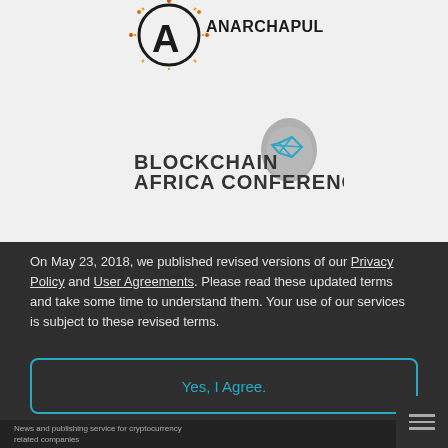[Figure (logo): Anarchapulco logo with circle-A symbol and bold text ANARCHAPULCO]
[Figure (logo): Blockchain Africa Conference logo with Africa map graphic and teal diamond shape, text reads BLOCKCHAIN AFRICA CONFERENCE in bold dark letters]
On May 23, 2018, we published revised versions of our Privacy Policy and User Agreements. Please read these updated terms and take some time to understand them. Your use of our services is subject to these revised terms.
Yes, I Agree.
News and publishing service for cryptocurrency related companies